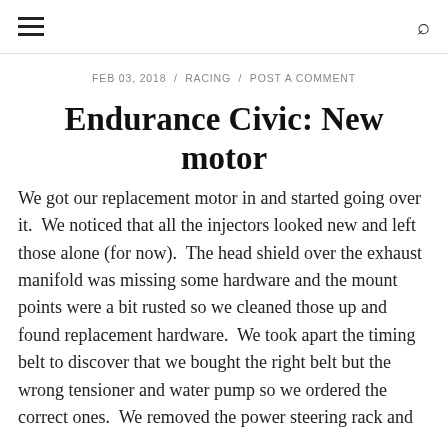≡   🔍
FEB 03, 2018  /  RACING  /  POST A COMMENT
Endurance Civic: New motor
We got our replacement motor in and started going over it.  We noticed that all the injectors looked new and left those alone (for now).  The head shield over the exhaust manifold was missing some hardware and the mount points were a bit rusted so we cleaned those up and found replacement hardware.  We took apart the timing belt to discover that we bought the right belt but the wrong tensioner and water pump so we ordered the correct ones.  We removed the power steering rack and